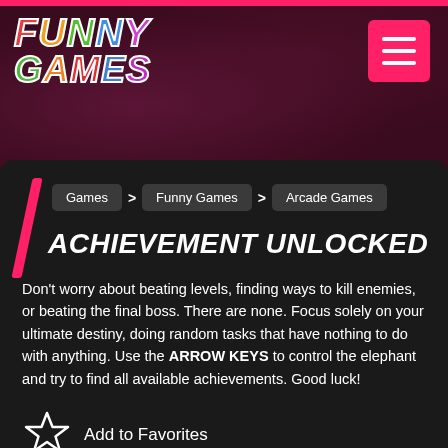[Figure (logo): Funny Games colorful stylized logo with bold italic letters in multiple colors]
[Figure (other): Pink hamburger menu button in top right corner]
Games > Funny Games > Arcade Games
ACHIEVEMENT UNLOCKED
Don't worry about beating levels, finding ways to kill enemies, or beating the final boss. There are none. Focus solely on your ultimate destiny, doing random tasks that have nothing to do with anything. Use the ARROW KEYS to control the elephant and try to find all available achievements. Good luck!
Add to Favorites